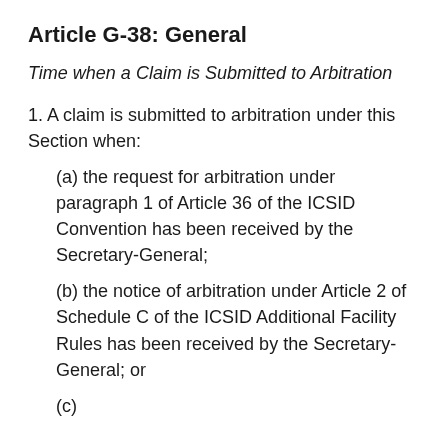Article G-38: General
Time when a Claim is Submitted to Arbitration
1. A claim is submitted to arbitration under this Section when:
(a) the request for arbitration under paragraph 1 of Article 36 of the ICSID Convention has been received by the Secretary-General;
(b) the notice of arbitration under Article 2 of Schedule C of the ICSID Additional Facility Rules has been received by the Secretary-General; or
(c) [text continues below]